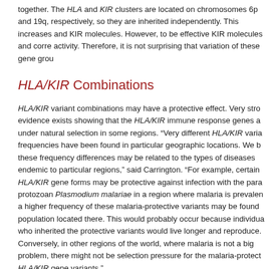together. The HLA and KIR clusters are located on chromosomes 6p and 19q, respectively, so they are inherited independently. This increases and KIR molecules. However, to be effective KIR molecules and corre activity. Therefore, it is not surprising that variation of these gene grou
HLA/KIR Combinations
HLA/KIR variant combinations may have a protective effect. Very stro evidence exists showing that the HLA/KIR immune response genes a under natural selection in some regions. “Very different HLA/KIR varia frequencies have been found in particular geographic locations. We b these frequency differences may be related to the types of diseases endemic to particular regions,” said Carrington. “For example, certain HLA/KIR gene forms may be protective against infection with the para protozoan Plasmodium malariae in a region where malaria is prevalen a higher frequency of these malaria-protective variants may be found population located there. This would probably occur because individua who inherited the protective variants would live longer and reproduce. Conversely, in other regions of the world, where malaria is not a big problem, there might not be selection pressure for the malaria-protect HLA/KIR gene variants.”